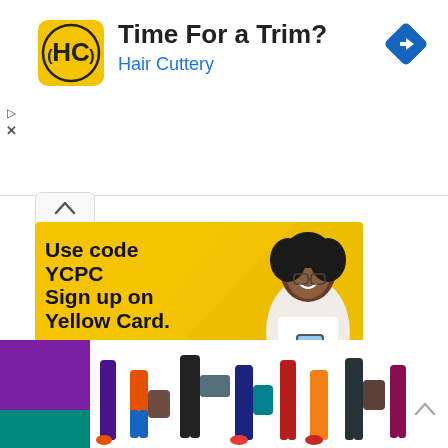[Figure (infographic): Hair Cuttery ad banner with logo (HC in yellow circle), title 'Time For a Trim?', subtitle 'Hair Cuttery', and blue navigation diamond icon]
[Figure (infographic): Yellow Card advertisement with text 'Use code YCPC Sign up on Yellow Card.' and a Sign Up button, woman photo on right side]
Sponsored
[Figure (infographic): Sponsored ad banner showing people's lower bodies with colorful bags and shoes on a white background]